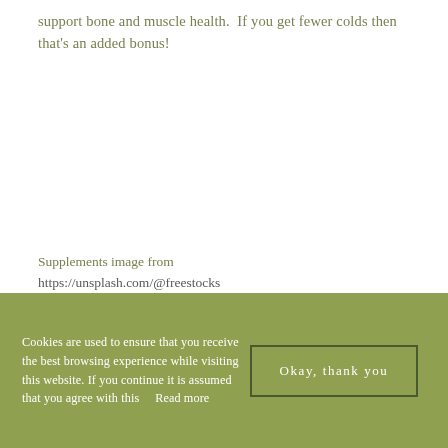support bone and muscle health.  If you get fewer colds then that's an added bonus!
Supplements image from https://unsplash.com/@freestocks

Sunrise image from https://unsplash.com/@jakegivens
Cookies are used to ensure that you receive the best browsing experience while visiting this website. If you continue it is assumed that you agree with this    Read more